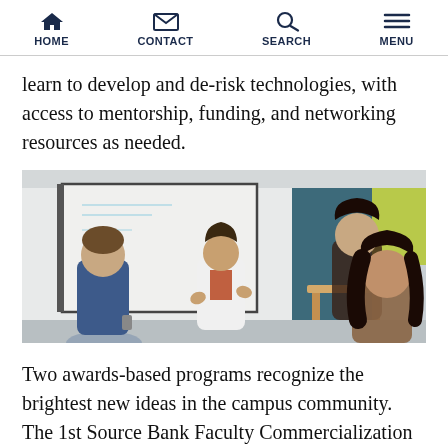HOME  CONTACT  SEARCH  MENU
learn to develop and de-risk technologies, with access to mentorship, funding, and networking resources as needed.
[Figure (photo): A woman in a white cardigan presents at a whiteboard in a modern meeting room, gesturing while speaking to two other people facing her.]
Two awards-based programs recognize the brightest new ideas in the campus community. The 1st Source Bank Faculty Commercialization Award is presented